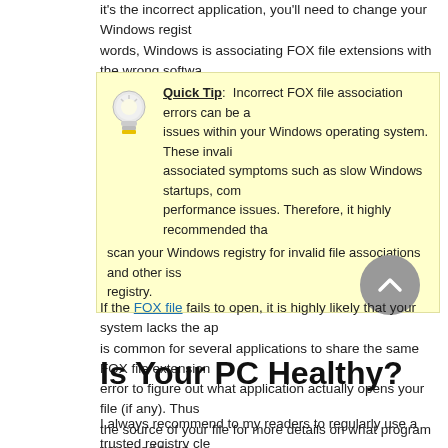it's the incorrect application, you'll need to change your Windows registry. In other words, Windows is associating FOX file extensions with the wrong software.
Quick Tip: Incorrect FOX file association errors can be a symptom of other issues within your Windows operating system. These invalid entries can produce associated symptoms such as slow Windows startups, computer errors, and performance issues. Therefore, it highly recommended that you scan your Windows registry for invalid file associations and other issues related to a slow registry.
If the FOX file fails to open, it is highly likely that your system lacks the appropriate application. It is common for several applications to share the same FOX file extension, which can make it very difficult to error to figure out what application actually opens your file (if any). Thus, it's very important to check the source of your file for more details on what program you need to open the file. This can save you a lot of time and headaches! Remember to always take caution when opening files from unknown sources or emails. I Hope You Liked This Article! If You Need Additional Help Or Have Questions, Don't Hesitate To Contact Me On Facebook.
Is Your PC Healthy?
I always recommend to my readers to regularly use a trusted registry cleaner such as WinThruster (Download) or CCleaner. Many problems that you encounter